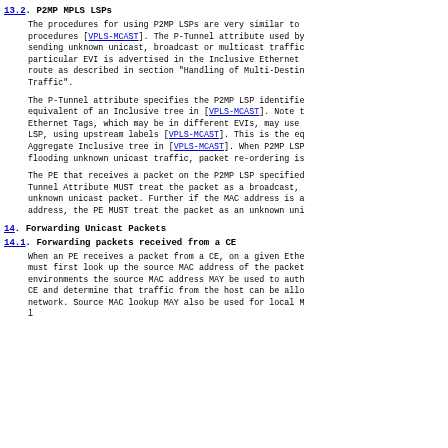13.2. P2MP MPLS LSPs
The procedures for using P2MP LSPs are very similar to procedures [VPLS-MCAST]. The P-Tunnel attribute used by sending unknown unicast, broadcast or multicast traffic particular EVI is advertised in the Inclusive Ethernet route as described in section "Handling of Multi-Destin Traffic".
The P-Tunnel attribute specifies the P2MP LSP identifie equivalent of an Inclusive tree in [VPLS-MCAST]. Note t Ethernet Tags, which may be in different EVIs, may use LSP, using upstream labels [VPLS-MCAST]. This is the eq Aggregate Inclusive tree in [VPLS-MCAST]. When P2MP LSP flooding unknown unicast traffic, packet re-ordering is
The PE that receives a packet on the P2MP LSP specified Tunnel Attribute MUST treat the packet as a broadcast, unknown unicast packet. Further if the MAC address is a address, the PE MUST treat the packet as an unknown uni
14. Forwarding Unicast Packets
14.1. Forwarding packets received from a CE
When an PE receives a packet from a CE, on a given Ethe must first look up the source MAC address of the packet environments the source MAC address MAY be used to auth CE and determine that traffic from the host can be allo network. Source MAC lookup MAY also be used for local M l